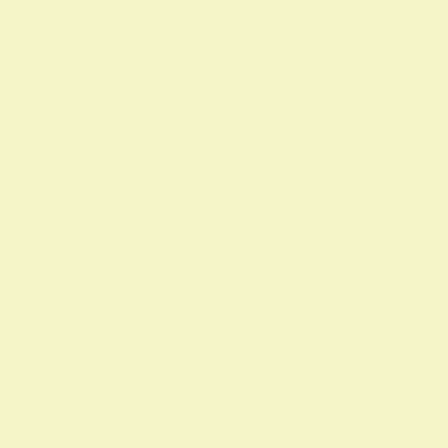[Figure (photo): Thumbnail photo of two people, warm toned background - post 1]
MANI... to a thr... Story S...
Chapter... years in... Complex...
see mo...
12 replies | 1448 view(s)
[Figure (photo): Thumbnail photo of two people, teal/dark background - post 2]
MANI... to a thr... Story S...
Thanks S... memory... an unoff...
see mo...
12 replies | 1448 view(s)
[Figure (photo): Thumbnail photo of two people, teal/dark background - post 3]
MANI... to a thr... Story S...
Chapter... to have t... worldwi...
see mo...